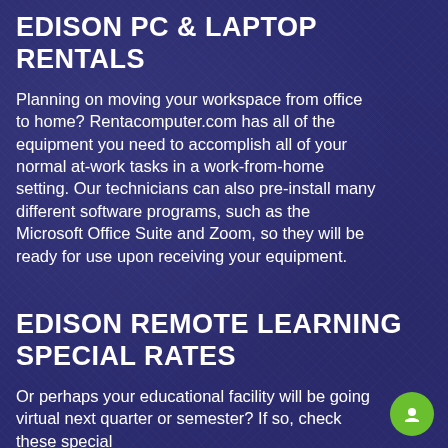EDISON PC & LAPTOP RENTALS
Planning on moving your workspace from office to home? Rentacomputer.com has all of the equipment you need to accomplish all of your normal at-work tasks in a work-from-home setting. Our technicians can also pre-install many different software programs, such as the Microsoft Office Suite and Zoom, so they will be ready for use upon receiving your equipment.
EDISON REMOTE LEARNING SPECIAL RATES
Or perhaps your educational facility will be going virtual next quarter or semester? If so, check these special